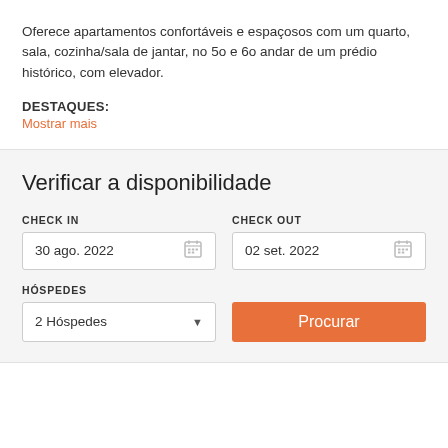Oferece apartamentos confortáveis e espaçosos com um quarto, sala, cozinha/sala de jantar, no 5o e 6o andar de um prédio histórico, com elevador.
DESTAQUES:
Mostrar mais
Verificar a disponibilidade
CHECK IN
30 ago. 2022
CHECK OUT
02 set. 2022
HÓSPEDES
2 Hóspedes
Procurar